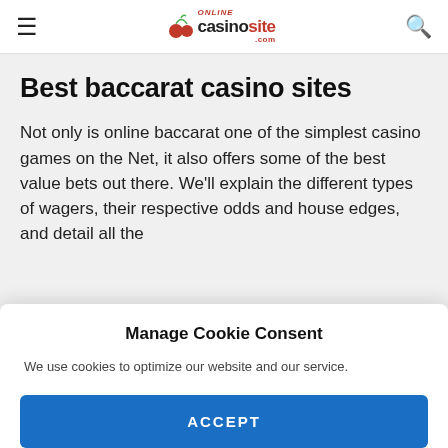Online Casino Site .com
Best baccarat casino sites
Not only is online baccarat one of the simplest casino games on the Net, it also offers some of the best value bets out there. We’ll explain the different types of wagers, their respective odds and house edges, and detail all the
Manage Cookie Consent
We use cookies to optimize our website and our service.
ACCEPT